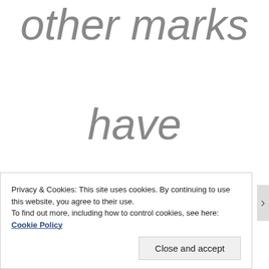other marks have revealed roles for
Privacy & Cookies: This site uses cookies. By continuing to use this website, you agree to their use.
To find out more, including how to control cookies, see here: Cookie Policy